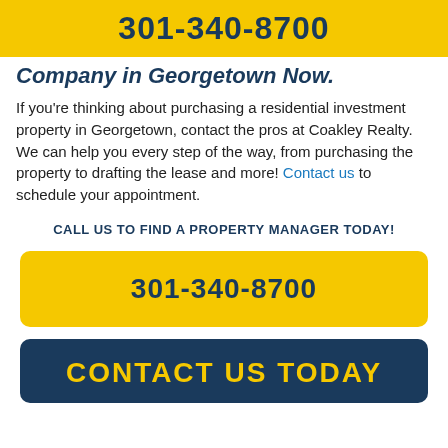301-340-8700
Company in Georgetown Now.
If you’re thinking about purchasing a residential investment property in Georgetown, contact the pros at Coakley Realty. We can help you every step of the way, from purchasing the property to drafting the lease and more! Contact us to schedule your appointment.
CALL US TO FIND A PROPERTY MANAGER TODAY!
301-340-8700
CONTACT US TODAY